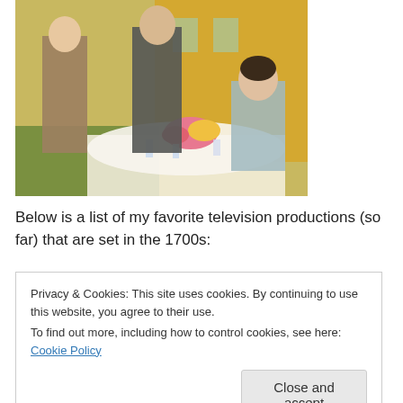[Figure (photo): Period drama scene showing three people in 18th century costumes seated and standing around an outdoor dining table with flowers, food and drinks, in front of a yellow building.]
Below is a list of my favorite television productions (so far) that are set in the 1700s:
Privacy & Cookies: This site uses cookies. By continuing to use this website, you agree to their use.
To find out more, including how to control cookies, see here: Cookie Policy

Close and accept